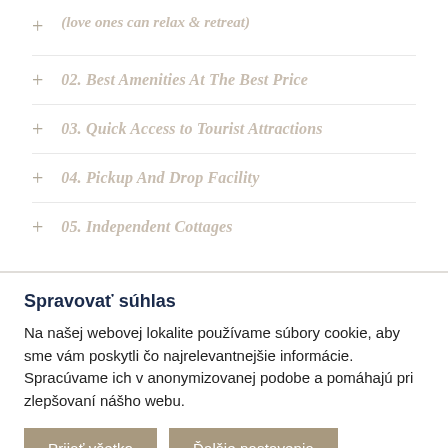(love ones can relax & retreat)
02. Best Amenities At The Best Price
03. Quick Access to Tourist Attractions
04. Pickup And Drop Facility
05. Independent Cottages
Spravovať súhlas
Na našej webovej lokalite používame súbory cookie, aby sme vám poskytli čo najrelevantnejšie informácie. Spracúvame ich v anonymizovanej podobe a pomáhajú pri zlepšovaní nášho webu.